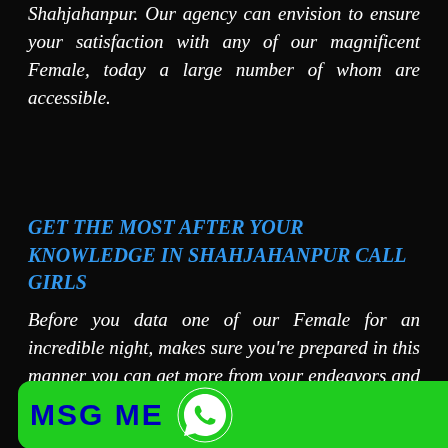Shahjahanpur. Our agency can envision to ensure your satisfaction with any of our magnificent Female, today a large number of whom are accessible.
GET THE MOST AFTER YOUR KNOWLEDGE IN SHAHJAHANPUR CALL GIRLS
Before you data one of our Female for an incredible night, makes sure you're prepared in this manner you can get more from your endeavors and exertion just as and exertion. basic for question for the first ur viewpoint, it's normally our vitality and exertion just rusing around Shahjahanpur
[Figure (other): Green MSG ME button with WhatsApp icon, and black CALL NOW button with red phone icon]